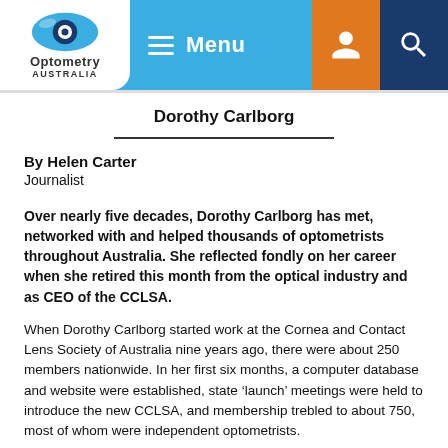[Figure (screenshot): Optometry Australia website navigation bar with logo, hamburger menu, account icon and search icon]
Dorothy Carlborg
By Helen Carter
Journalist
Over nearly five decades, Dorothy Carlborg has met, networked with and helped thousands of optometrists throughout Australia. She reflected fondly on her career when she retired this month from the optical industry and as CEO of the CCLSA.
When Dorothy Carlborg started work at the Cornea and Contact Lens Society of Australia nine years ago, there were about 250 members nationwide. In her first six months, a computer database and website were established, state ‘launch’ meetings were held to introduce the new CCLSA, and membership trebled to about 750, most of whom were independent optometrists.